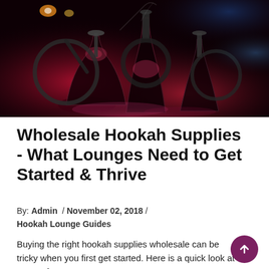[Figure (photo): Dark atmospheric photo of hookah pipes on a table with red and blue lighting, smoke visible in background]
Wholesale Hookah Supplies - What Lounges Need to Get Started & Thrive
By: Admin  /  November 02, 2018  /  Hookah Lounge Guides
Buying the right hookah supplies wholesale can be tricky when you first get started. Here is a quick look at some of